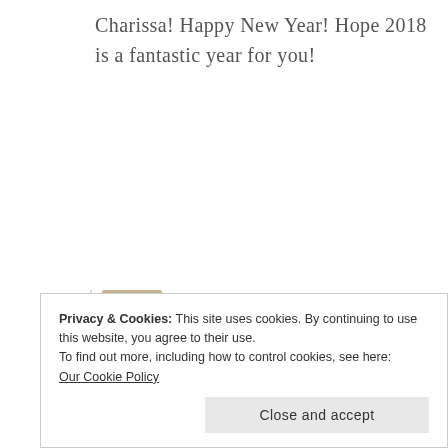Charissa! Happy New Year! Hope 2018 is a fantastic year for you!
[Figure (photo): Avatar photo of a blonde woman]
Charissa
January 1, 2018 at 9:37 am
I love sharing awesome books, and yours definitely qualify.
Privacy & Cookies: This site uses cookies. By continuing to use this website, you agree to their use.
To find out more, including how to control cookies, see here:
Our Cookie Policy
Close and accept